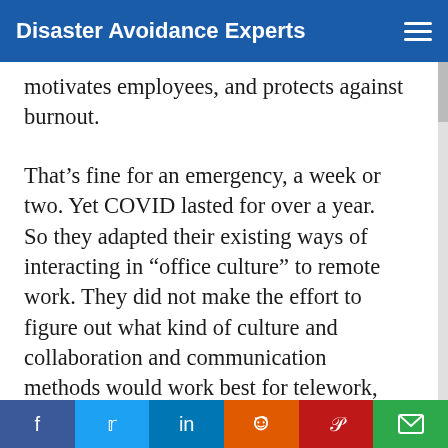Disaster Avoidance Experts
motivates employees, and protects against burnout.
That’s fine for an emergency, a week or two. Yet COVID lasted for over a year. So they adapted their existing ways of interacting in “office culture” to remote work. They did not make the effort to figure out what kind of culture and collaboration and communication methods would work best for telework, and failed to address strategically issues like deteriorating organizational culture, sense of
f  t  in  (reddit)  p  (email)